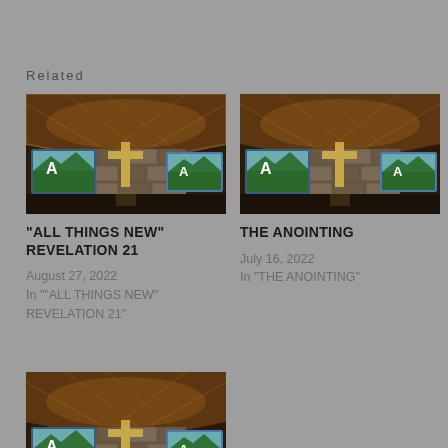Related
[Figure (photo): Church interior with large cross and projection screens showing a nature scene]
"ALL THINGS NEW" REVELATION 21
August 27, 2022
In ""ALL THINGS NEW" REVELATION 21"
[Figure (photo): Church interior with large cross and projection screens showing a nature scene]
THE ANOINTING
July 16, 2022
In "THE ANOINTING"
[Figure (photo): Church interior with large cross and projection screens showing a nature scene]